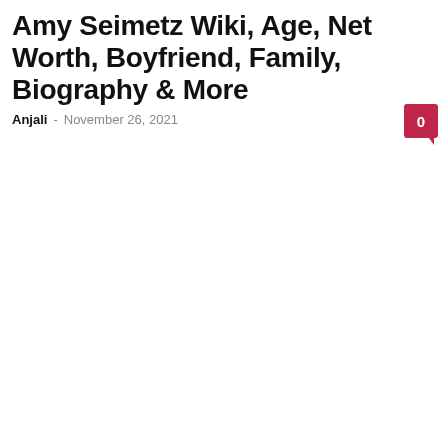Amy Seimetz Wiki, Age, Net Worth, Boyfriend, Family, Biography & More
Anjali - November 26, 2021